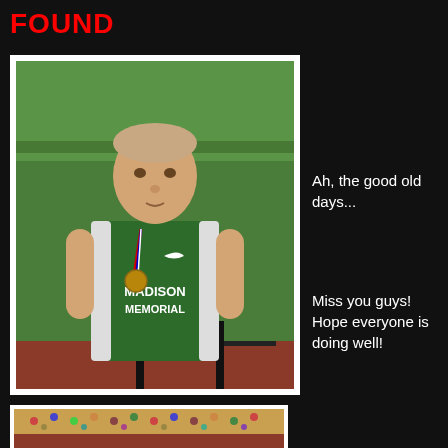FOUND
[Figure (photo): Young man wearing a green Madison Memorial track jersey and a medal on a red-white-blue ribbon, standing outdoors on a track or field]
Ah, the good old days...
Miss you guys! Hope everyone is doing well!
[Figure (photo): Crowd scene at a track and field event, partially visible at the bottom of the page]